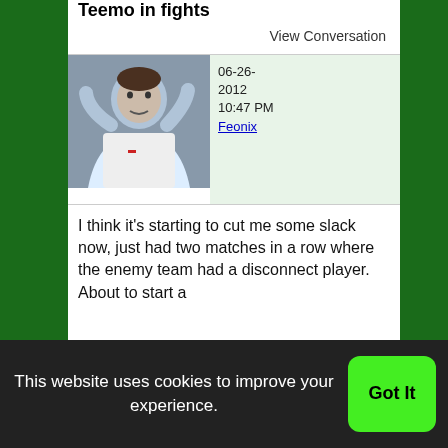Teemo in fights
View Conversation
06-26-2012 10:47 PM Feonix
[Figure (photo): Avatar photo of a person with hands raised, wearing a white jacket]
I think it's starting to cut me some slack now, just had two matches in a row where the enemy team had a disconnect player. About to start a
This website uses cookies to improve your experience.
Got It